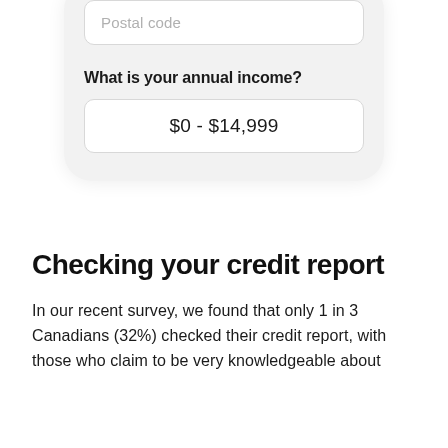[Figure (screenshot): Mobile app screenshot showing a form with 'Postal code' placeholder input field and 'What is your annual income?' question with '$0 - $14,999' selected answer field, displayed within a rounded card/phone mockup.]
Checking your credit report
In our recent survey, we found that only 1 in 3 Canadians (32%) checked their credit report, with those who claim to be very knowledgeable about